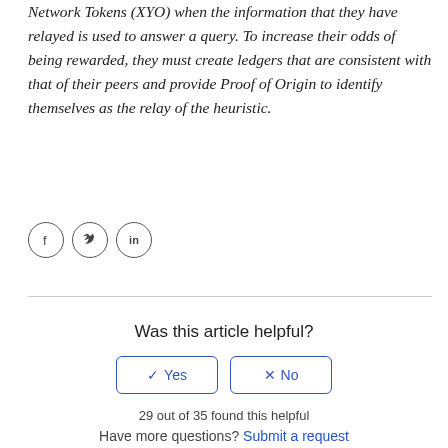Network Tokens (XYO) when the information that they have relayed is used to answer a query. To increase their odds of being rewarded, they must create ledgers that are consistent with that of their peers and provide Proof of Origin to identify themselves as the relay of the heuristic.
[Figure (other): Social media icons: Facebook (f), Twitter (bird), LinkedIn (in) — each in a circle]
Was this article helpful?
Yes   No
29 out of 35 found this helpful
Have more questions? Submit a request